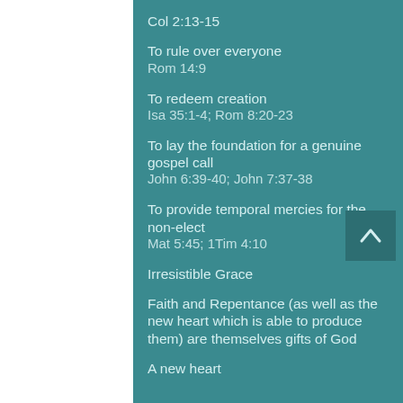Col 2:13-15
To rule over everyone
Rom 14:9
To redeem creation
Isa 35:1-4; Rom 8:20-23
To lay the foundation for a genuine gospel call
John 6:39-40; John 7:37-38
To provide temporal mercies for the non-elect
Mat 5:45; 1Tim 4:10
Irresistible Grace
Faith and Repentance (as well as the new heart which is able to produce them) are themselves gifts of God
A new heart